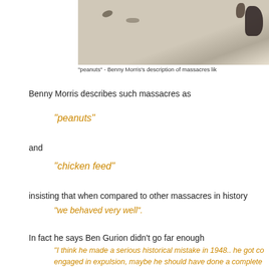[Figure (photo): Partial black and white photograph at top of page]
"peanuts" - Benny Morris's description of massacres lik
Benny Morris describes such massacres as
"peanuts"
and
"chicken feed"
insisting that when compared to other massacres in history
"we behaved very well".
In fact he says Ben Gurion didn't go far enough
"I think he made a serious historical mistake in 1948.. he got co engaged in expulsion, maybe he should have done a complete jo would be quieter and know less suffering if the matter had been Gurion had carried out a large expulsion and cleansed the whole Israel, as far as the Jordan River."